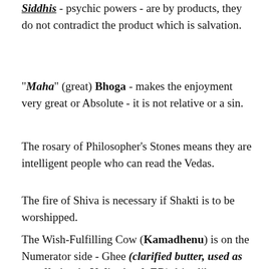Siddhis - psychic powers - are by products, they do not contradict the product which is salvation.
"Maha" (great) Bhoga - makes the enjoyment very great or Absolute - it is not relative or a sin.
The rosary of Philosopher's Stones means they are intelligent people who can read the Vedas.
The fire of Shiva is necessary if Shakti is to be worshipped.
The Wish-Fulfilling Cow (Kamadhenu) is on the Numerator side - Ghee (clarified butter, used as an offering in Vedic ritual. ED) drips like rosary beads.